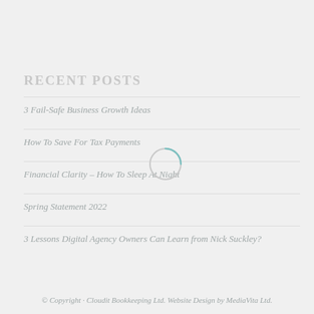RECENT POSTS
3 Fail-Safe Business Growth Ideas
How To Save For Tax Payments
Financial Clarity – How To Sleep At Night
Spring Statement 2022
3 Lessons Digital Agency Owners Can Learn from Nick Suckley?
© Copyright · Cloudit Bookkeeping Ltd. Website Design by MediaVita Ltd.